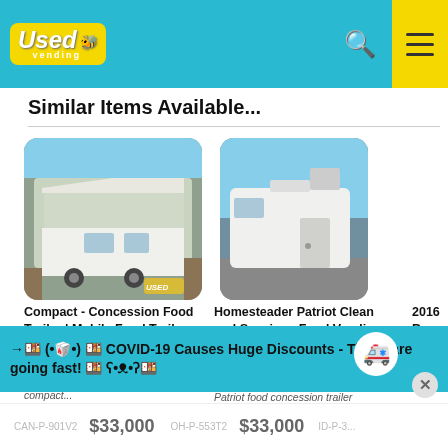Used Vending
Similar Items Available...
[Figure (photo): Compact concession food trailer with large awning open, parked in a lot, white exterior with signage]
Compact - Concession Food Trailer | Mobile Food Trailer for Sale in Ontario!
Looking for a start up trailer for your mobile food business? Right here is a compact...
[Figure (photo): Homesteader Patriot white enclosed food vending concession trailer parked outdoors]
Homesteader Patriot Clean and Spacious Food Vending Concession Trailer for Sale in Ohio!
Here is a sparkling Homesteader Patriot food concession trailer make...
2016...Beve...Carni...for Sa...
→🍱 (•🥡•) 🍱 COVID-19 Causes Huge Discounts - These are going fast! 🍱 ʕ•ᴥ•ʔ🍱
CAN-P-901V2   $33,000   OH-P-553T2   $33,000   ID-P-3...